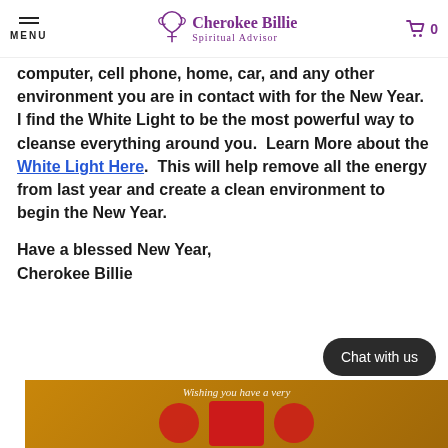MENU | Cherokee Billie Spiritual Advisor | 0
I recommend that you cleanse your spirit, computer, cell phone, home, car, and any other environment you are in contact with for the New Year.  I find the White Light to be the most powerful way to cleanse everything around you.  Learn More about the White Light Here.  This will help remove all the energy from last year and create a clean environment to begin the New Year.
Have a blessed New Year,
Cherokee Billie
[Figure (photo): Bottom portion of a holiday greeting card with golden/orange background showing red ribbons and decorative jewels with text 'Wishing you have a very']